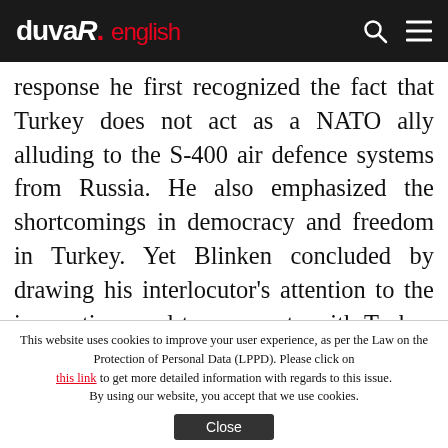duvaR. english
response he first recognized the fact that Turkey does not act as a NATO ally alluding to the S-400 air defence systems from Russia. He also emphasized the shortcomings in democracy and freedom in Turkey. Yet Blinken concluded by drawing his interlocutor's attention to the imperative need to cooperate with Turkey in files like Iran, Russia, Afghanistan, Syria and counterterrorism. National Secretary Advisor Sullivan's remarks on the agenda of the leaders' meeting is along
This website uses cookies to improve your user experience, as per the Law on the Protection of Personal Data (LPPD). Please click on this link to get more detailed information with regards to this issue. By using our website, you accept that we use cookies. Close